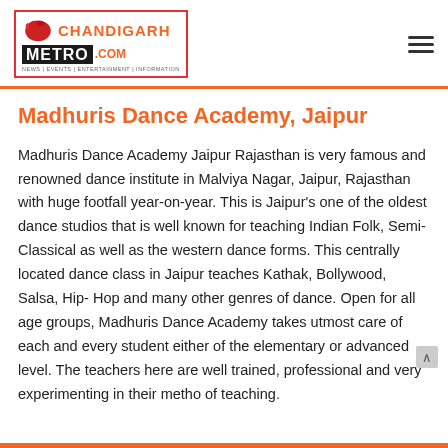ChandigarhMetro.com
Madhuris Dance Academy, Jaipur
Madhuris Dance Academy Jaipur Rajasthan is very famous and renowned dance institute in Malviya Nagar, Jaipur, Rajasthan with huge footfall year-on-year. This is Jaipur's one of the oldest dance studios that is well known for teaching Indian Folk, Semi- Classical as well as the western dance forms. This centrally located dance class in Jaipur teaches Kathak, Bollywood, Salsa, Hip- Hop and many other genres of dance. Open for all age groups, Madhuris Dance Academy takes utmost care of each and every student either of the elementary or advanced level. The teachers here are well trained, professional and very experimenting in their metho of teaching.